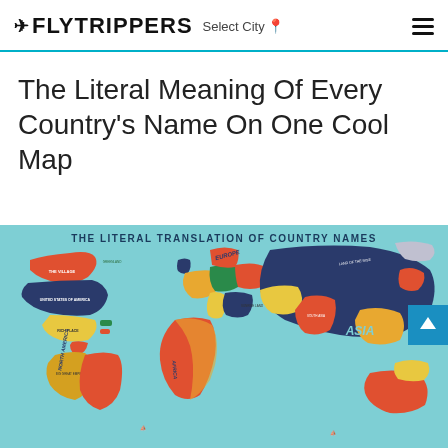FLYTRIPPERS Select City
The Literal Meaning Of Every Country’s Name On One Cool Map
[Figure (map): Colorful world map infographic titled 'THE LITERAL TRANSLATION OF COUNTRY NAMES' showing continents with literal translations of country names labeled on each country. North America, Europe, Asia, and Africa are visible with various country name translations annotated.]